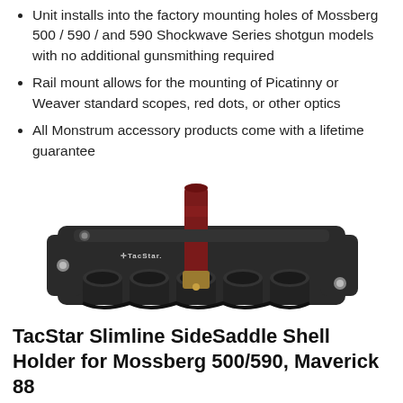Unit installs into the factory mounting holes of Mossberg 500 / 590 / and 590 Shockwave Series shotgun models with no additional gunsmithing required
Rail mount allows for the mounting of Picatinny or Weaver standard scopes, red dots, or other optics
All Monstrum accessory products come with a lifetime guarantee
[Figure (photo): TacStar Slimline SideSaddle shell holder product photo showing a black polymer shell holder with five tube-shaped holders and one shell loaded (dark red/maroon colored shotgun shell visible)]
TacStar Slimline SideSaddle Shell Holder for Mossberg 500/590, Maverick 88